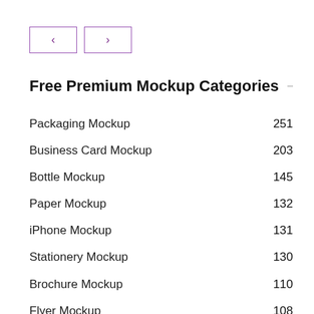[Figure (other): Navigation buttons: left arrow and right arrow, bordered in purple]
Free Premium Mockup Categories
Packaging Mockup 251
Business Card Mockup 203
Bottle Mockup 145
Paper Mockup 132
iPhone Mockup 131
Stationery Mockup 130
Brochure Mockup 110
Flyer Mockup 108
Sign Mockup 101
T-Shirt Mockup 101